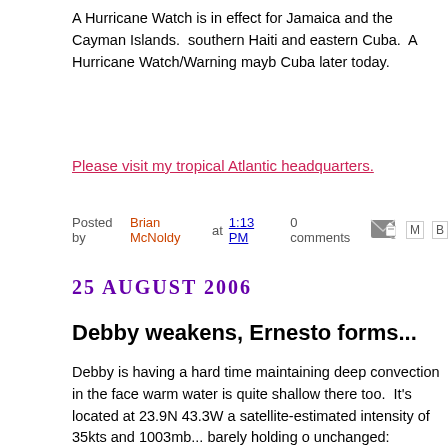A Hurricane Watch is in effect for Jamaica and the Cayman Islands. southern Haiti and eastern Cuba.  A Hurricane Watch/Warning mayb Cuba later today.
Please visit my tropical Atlantic headquarters.
Posted by Brian McNoldy at 1:13 PM    0 comments
25 AUGUST 2006
Debby weakens, Ernesto forms...
Debby is having a hard time maintaining deep convection in the face warm water is quite shallow there too.  It's located at 23.9N 43.3W a satellite-estimated intensity of 35kts and 1003mb... barely holding o unchanged: fluctuate a bit in intensity and recurve by 55W.
At 21Z yesterday, the strong tropical wave near the Lesser Antilles w flight into it.  Today at 21Z, it was further upgraded to TS Ernesto, ag experiencing decent westerly vertical wind shear, so the low-level ce convection.  Recall that this wave was born in the Ethiopian Highlan Africa on August 17.